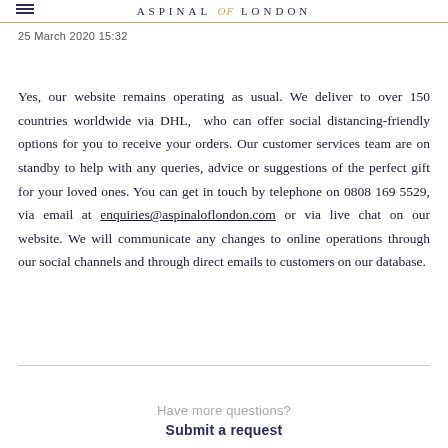ASPINAL of LONDON
25 March 2020 15:32
Yes, our website remains operating as usual. We deliver to over 150 countries worldwide via DHL, who can offer social distancing-friendly options for you to receive your orders. Our customer services team are on standby to help with any queries, advice or suggestions of the perfect gift for your loved ones. You can get in touch by telephone on 0808 169 5529, via email at enquiries@aspinaloflondon.com or via live chat on our website. We will communicate any changes to online operations through our social channels and through direct emails to customers on our database.
Have more questions?
Submit a request